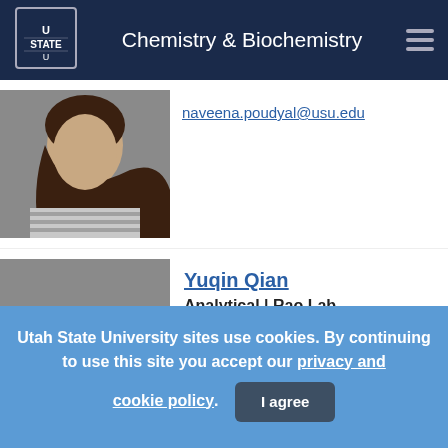Chemistry & Biochemistry
[Figure (photo): Headshot photo of Naveena Poudyal, a young woman with long dark hair, wearing a striped grey top]
naveena.poudyal@usu.edu
[Figure (photo): Partial headshot photo of Yuqin Qian, showing top of head with dark hair]
Yuqin Qian
Analytical | Rao Lab
Utah State University sites use cookies. By continuing to use this site you accept our privacy and cookie policy.